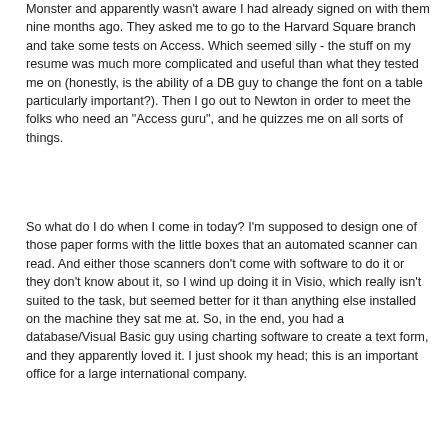Monster and apparently wasn't aware I had already signed on with them nine months ago. They asked me to go to the Harvard Square branch and take some tests on Access. Which seemed silly - the stuff on my resume was much more complicated and useful than what they tested me on (honestly, is the ability of a DB guy to change the font on a table particularly important?). Then I go out to Newton in order to meet the folks who need an "Access guru", and he quizzes me on all sorts of things.
So what do I do when I come in today? I'm supposed to design one of those paper forms with the little boxes that an automated scanner can read. And either those scanners don't come with software to do it or they don't know about it, so I wind up doing it in Visio, which really isn't suited to the task, but seemed better for it than anything else installed on the machine they sat me at. So, in the end, you had a database/Visual Basic guy using charting software to create a text form, and they apparently loved it. I just shook my head; this is an important office for a large international company.